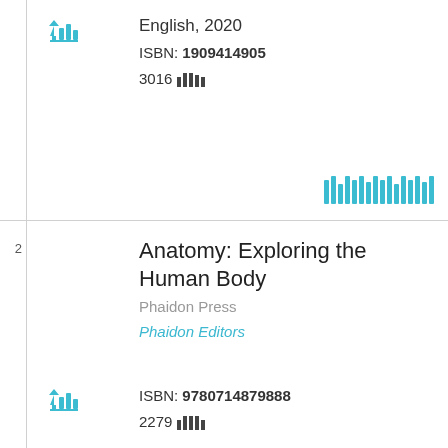English, 2020
ISBN: 1909414905
3016
[Figure (other): Upload/share icon with bar chart bars in teal]
[Figure (other): Stacked bar chart icon in teal, bottom right]
2
Anatomy: Exploring the Human Body
Phaidon Press
Phaidon Editors
[Figure (other): Upload/share icon with bar chart bars in teal]
ISBN: 9780714879888
2279